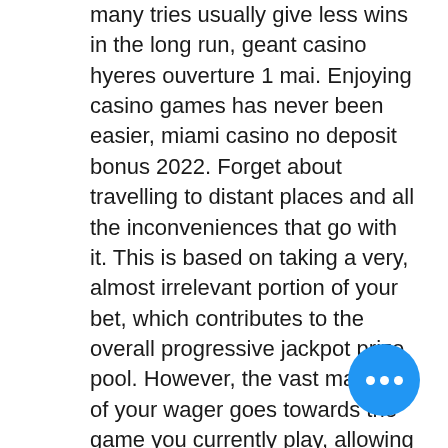many tries usually give less wins in the long run, geant casino hyeres ouverture 1 mai. Enjoying casino games has never been easier, miami casino no deposit bonus 2022. Forget about travelling to distant places and all the inconveniences that go with it. This is based on taking a very, almost irrelevant portion of your bet, which contributes to the overall progressive jackpot prize pool. However, the vast majority of your wager goes towards the game you currently play, allowing you to win in both fields potentially, magic diamond casino lolo mt. The rest, as they say, is history. With the rise of online casinos at the turn of our century, video slots that could be played from home via a PC grew in popularity, reaching to the point we are at today, codigo promocional poker gran madrid. We all want to have big casino wins when we play the slots, play hoylel casino games free online. The way I play the slots at the casino may work for you also. The